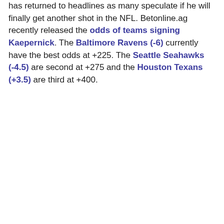has returned to headlines as many speculate if he will finally get another shot in the NFL. Betonline.ag recently released the odds of teams signing Kaepernick. The Baltimore Ravens (-6) currently have the best odds at +225. The Seattle Seahawks (-4.5) are second at +275 and the Houston Texans (+3.5) are third at +400.